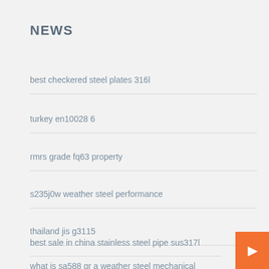NEWS
best checkered steel plates 316l
turkey en10028 6
rmrs grade fq63 property
s235j0w weather steel performance
thailand jis g3115
best sale in china stainless steel pipe sus317l
what is sa588 gr a weather steel mechanical properties